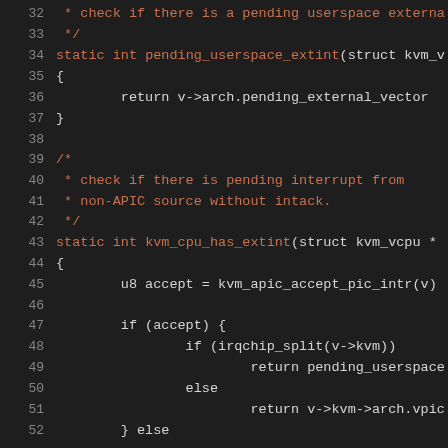[Figure (screenshot): Source code snippet in a dark-themed code editor showing C/C++ code lines 32-52, with line numbers in gray, comments in red/orange, and code in red/orange and white.]